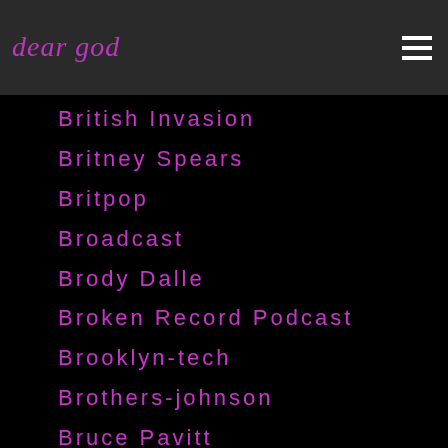dear god
British Invasion
Britney Spears
Britpop
Broadcast
Brody Dalle
Broken Record Podcast
Brooklyn-tech
Brothers-johnson
Bruce Pavitt
Bruce Sinofsky
Bruce Springsteen
Bruce Weber
Bruno Mars
Brutal Truth
Brutus
Bryan Ferry
Buckcherry